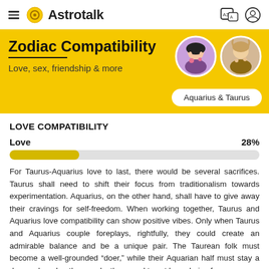≡ Astrotalk
Zodiac Compatibility
Love, sex, friendship & more
Aquarius & Taurus
LOVE COMPATIBILITY
[Figure (other): Horizontal progress bar showing Love compatibility at 28%]
For Taurus-Aquarius love to last, there would be several sacrifices. Taurus shall need to shift their focus from traditionalism towards experimentation. Aquarius, on the other hand, shall have to give away their cravings for self-freedom. When working together, Taurus and Aquarius love compatibility can show positive vibes. Only when Taurus and Aquarius couple foreplays, rightfully, they could create an admirable balance and be a unique pair. The Taurean folk must become a well-grounded “doer,” while their Aquarian half must stay a dreamy bee. In other words, they need to set boundaries for